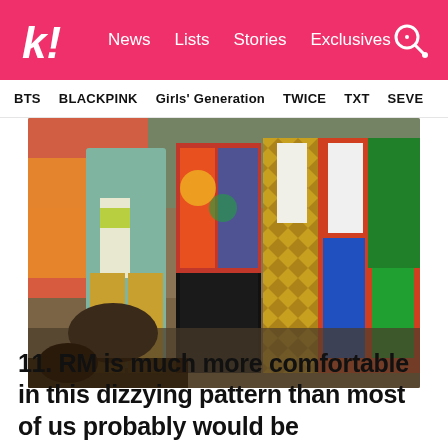k! News  Lists  Stories  Exclusives
BTS  BLACKPINK  Girls' Generation  TWICE  TXT  SEVE
[Figure (photo): Group photo of BTS members wearing colorful patterned suits and outfits on a stage, with an audience visible in the foreground.]
11. RM is much more comfortable in this dizzying pattern than most of us probably would be